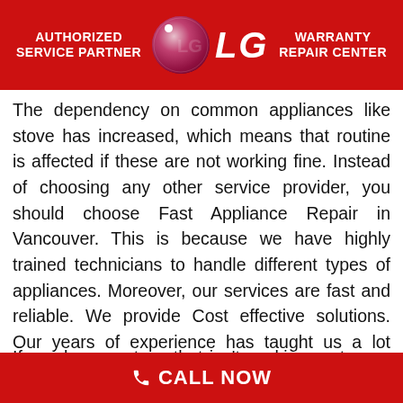[Figure (logo): LG Authorized Service Partner and Warranty Repair Center banner with LG logo on red background]
The dependency on common appliances like stove has increased, which means that routine is affected if these are not working fine. Instead of choosing any other service provider, you should choose Fast Appliance Repair in Vancouver. This is because we have highly trained technicians to handle different types of appliances. Moreover, our services are fast and reliable. We provide Cost effective solutions. Our years of experience has taught us a lot about different issues, and we are the experts in what we do.
If you have a stove that isn't working up to par, give us a
CALL NOW